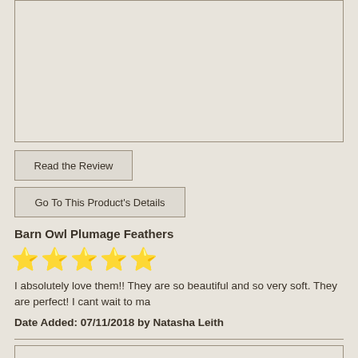[Figure (other): Empty image placeholder box at the top of the page]
Read the Review
Go To This Product's Details
Barn Owl Plumage Feathers
[Figure (other): Five gold star rating icons]
I absolutely love them!! They are so beautiful and so very soft. They are perfect! I cant wait to ma
Date Added: 07/11/2018 by Natasha Leith
[Figure (other): Empty image placeholder box at the bottom of the page]